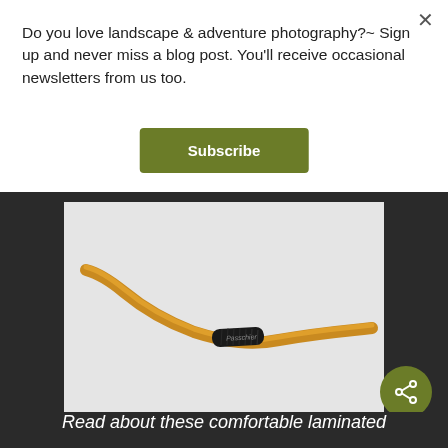Do you love landscape & adventure photography?~ Sign up and never miss a blog post. You'll receive occasional newsletters from us too.
Subscribe
[Figure (photo): Gold/orange colored bicycle handlebar (Passchier brand) photographed against a light gray background. The handlebar has a black center grip section with branding. The bar sweeps upward on the left and extends flat to the right.]
Read about these comfortable laminated